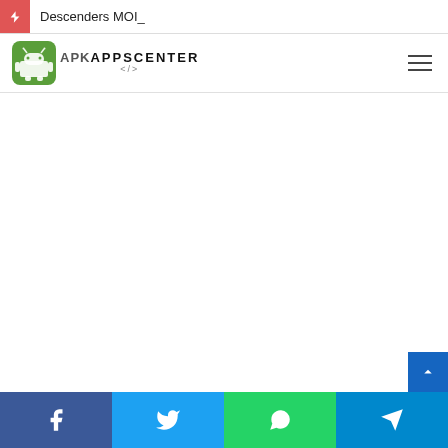Descenders MOI_
[Figure (logo): APKAppsCenter logo with green Android robot icon and site name]
[Figure (infographic): Social share footer bar with Facebook, Twitter, WhatsApp, Telegram buttons]